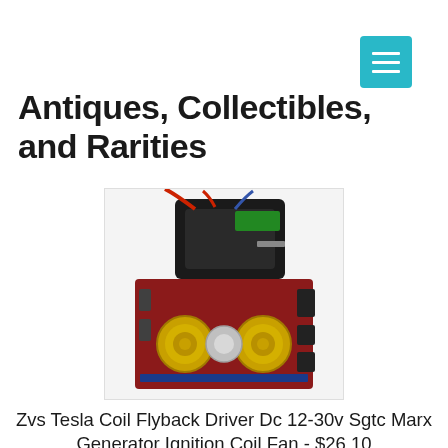[Figure (other): Hamburger menu button icon (three white horizontal lines on teal/cyan square background)]
Antiques, Collectibles, and Rarities
[Figure (photo): Product photo of a ZVS Tesla Coil Flyback Driver circuit board with motor and wires, shown on a red PCB with gold coils and black components]
Zvs Tesla Coil Flyback Driver Dc 12-30v Sgtc Marx Generator Ignition Coil Fan - $26.10
Zvs Tesla Coil Flyback Driver Dc 12-30v Sgtc Marx Generator Ignition Coil Fan